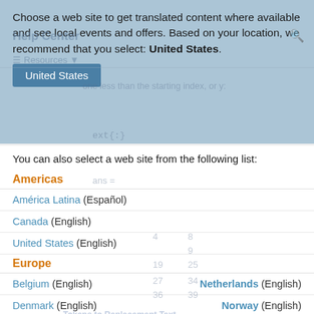Choose a web site to get translated content where available and see local events and offers. Based on your location, we recommend that you select: United States.
United States
You can also select a web site from the following list:
Americas
América Latina (Español)
Canada (English)
United States (English)
Europe
Belgium (English)   Netherlands (English)
Denmark (English)   Norway (English)
Deutschland (Deutsch)   Österreich (Deutsch)
España (Español)   Portugal (English)